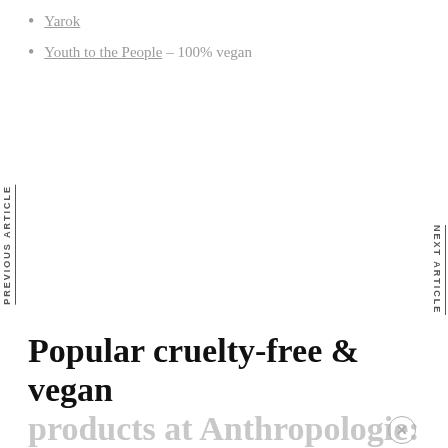Yarok
Youth to the People – 100% vegan
PREVIOUS ARTICLE
NEXT ARTICLE
Popular cruelty-free & vegan products at Anthropologie: